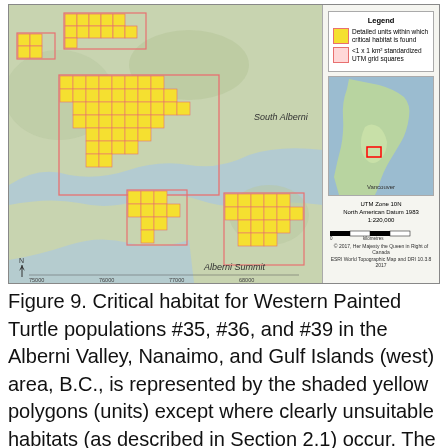[Figure (map): Map showing critical habitat for Western Painted Turtle populations #35, #36, and #39 in the Alberni Valley area, British Columbia. The map displays yellow shaded polygons (units) overlaid on a topographic base map with red-outlined 1x1 km UTM grid squares. Labels include South Alberni and Alberni Summit. An inset map shows the location within British Columbia. Legend shows: Detailed units within which critical habitat is found (yellow), and <1 x 1 km² standardized UTM grid squares (pink). Scale: UTM Zone 10N, North American Datum 1983, 1:220,000.]
Figure 9. Critical habitat for Western Painted Turtle populations #35, #36, and #39 in the Alberni Valley, Nanaimo, and Gulf Islands (west) area, B.C., is represented by the shaded yellow polygons (units) except where clearly unsuitable habitats (as described in Section 2.1) occur. The 1 km x 1 km UTM grid